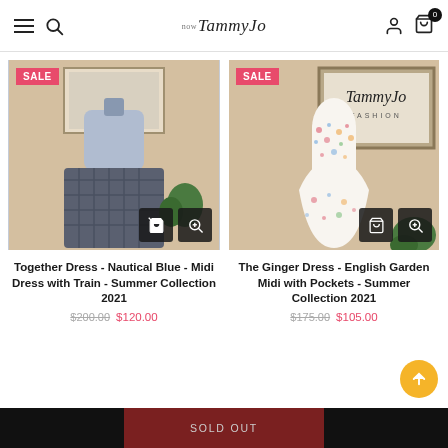now TammyJo — navigation header with hamburger menu, search, logo, user icon, cart (0)
[Figure (photo): Product photo of Together Dress - Nautical Blue on mannequin, beige background, blue-grey top and dark plaid skirt, SALE badge]
[Figure (photo): Product photo of The Ginger Dress - English Garden Midi on mannequin, TammyJo sign in background, floral white dress, SALE badge]
Together Dress - Nautical Blue - Midi Dress with Train - Summer Collection 2021
The Ginger Dress - English Garden Midi with Pockets - Summer Collection 2021
$200.00  $120.00
$175.00  $105.00
SOLD OUT